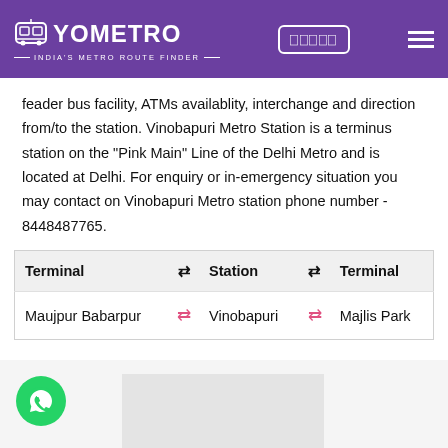YOMETRO - INDIA'S METRO ROUTE FINDER
feader bus facility, ATMs availablity, interchange and direction from/to the station. Vinobapuri Metro Station is a terminus station on the "Pink Main" Line of the Delhi Metro and is located at Delhi. For enquiry or in-emergency situation you may contact on Vinobapuri Metro station phone number - 8448487765.
| Terminal | ⇄ | Station | ⇄ | Terminal |
| --- | --- | --- | --- | --- |
| Maujpur Babarpur | ⇄ | Vinobapuri | ⇄ | Majlis Park |
[Figure (other): Advertisement placeholder box and WhatsApp contact button (green circle with WhatsApp icon)]